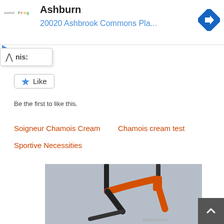[Figure (screenshot): Advertisement banner for sweetFrog showing 'Ashburn' and '20020 Ashbrook Commons Pla...' with a navigation arrow icon]
nis:
[Figure (screenshot): Like button with star icon]
Be the first to like this.
Soigneur Chamois Cream
Chamois cream test
Sportive Necessities
[Figure (photo): Orange and dark bicycle frame on a gray background, showing top tube, seat tube, and handlebars]